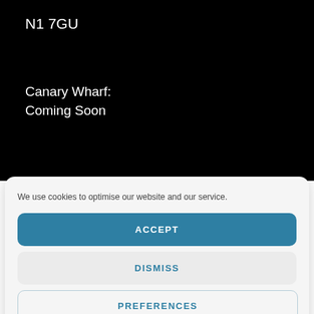N1 7GU
Canary Wharf:
Coming Soon
We use cookies to optimise our website and our service.
ACCEPT
DISMISS
PREFERENCES
SAVE PREFERENCES
Cookie Policy   Privacy Policy